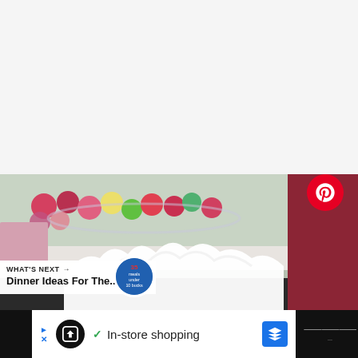[Figure (screenshot): White/light gray blank upper area of a webpage screenshot]
[Figure (photo): Food photo showing colorful candy balls and whipped cream dessert with dark red background element, with UI overlay buttons including heart, share, and Pinterest buttons]
WHAT'S NEXT →
Dinner Ideas For The...
[Figure (photo): Small circular thumbnail image showing a blue badge with text '35 meals under 10 bucks']
In-store shopping